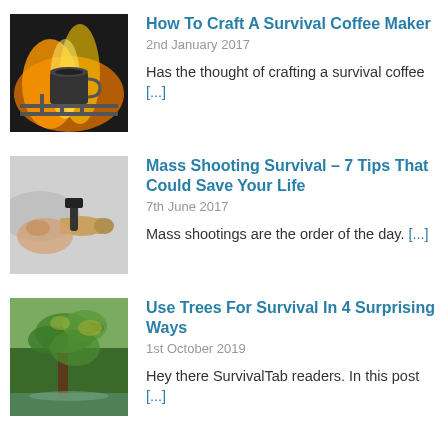[Figure (photo): Camp fire with a coffee mug on a grill grate]
How To Craft A Survival Coffee Maker
2nd January 2017
Has the thought of crafting a survival coffee [...]
[Figure (photo): Close-up of a bullet on a hard surface]
Mass Shooting Survival – 7 Tips That Could Save Your Life
7th June 2017
Mass shootings are the order of the day. [...]
[Figure (photo): Trees with green foliage near water]
Use Trees For Survival In 4 Surprising Ways
1st October 2019
Hey there SurvivalTab readers. In this post [...]